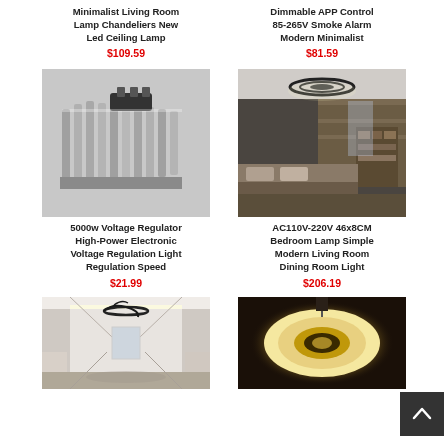Minimalist Living Room Lamp Chandeliers New Led Ceiling Lamp
$109.59
Dimmable APP Control 85-265V Smoke Alarm Modern Minimalist
$81.59
[Figure (photo): Photo of a metallic heat sink component with black pins, used in voltage regulator]
5000w Voltage Regulator High-Power Electronic Voltage Regulation Light Regulation Speed
$21.99
[Figure (photo): Photo of a modern bedroom with circular LED ceiling lamp mounted on ceiling, dark room with bed and bookshelf]
AC110V-220V 46x8CM Bedroom Lamp Simple Modern Living Room Dining Room Light
$206.19
[Figure (photo): Photo of a modern hallway with a spiral black LED ceiling lamp in a white corridor]
[Figure (photo): Photo of a round warm-tone LED ceiling lamp glowing with warm light]